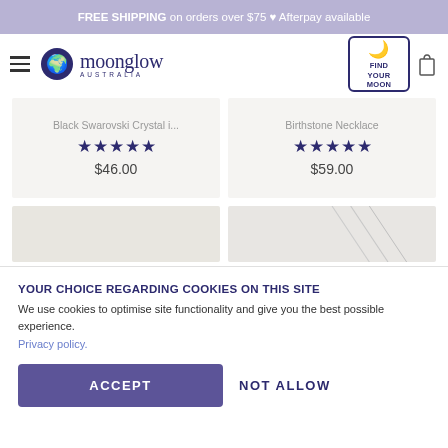FREE SHIPPING on orders over $75 ♥ Afterpay available
[Figure (logo): Moonglow Australia logo with moon/globe icon and hamburger menu, plus Find Your Moon button and bag icon]
Black Swarovski Crystal i...
★★★★★
$46.00
Birthstone Necklace
★★★★★
$59.00
[Figure (photo): Product thumbnail images - left plain grey, right showing chain/necklace detail]
YOUR CHOICE REGARDING COOKIES ON THIS SITE
We use cookies to optimise site functionality and give you the best possible experience.
Privacy policy.
ACCEPT
NOT ALLOW